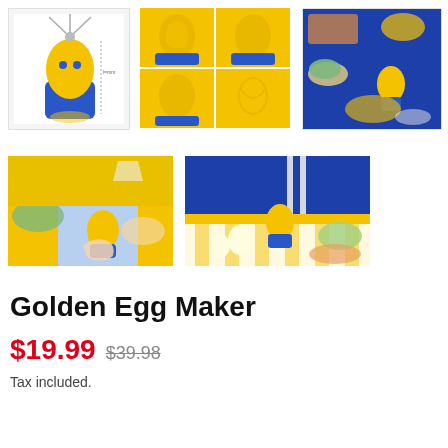[Figure (photo): Yellow and blue Golden Egg Maker device on white background with dimension lines]
[Figure (photo): Four-panel grid showing hands using the Golden Egg Maker on yellow background]
[Figure (photo): Overhead flat lay of Golden Egg Maker with food items on blue background]
[Figure (photo): Hands using Golden Egg Maker on a yellow table with food around]
[Figure (photo): Table setting with Golden Egg Maker, eggs, and food on yellow background]
Golden Egg Maker
$19.99  $39.98
Tax included.